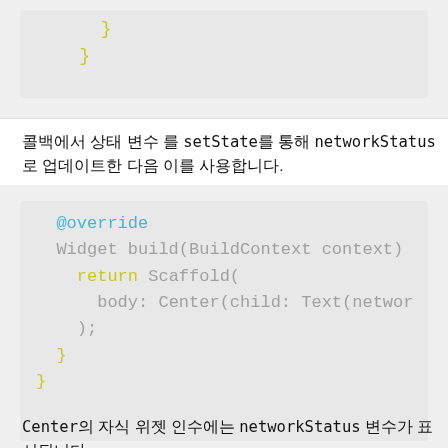[Figure (screenshot): Code block snippet showing closing braces in gray monospace font on light gray background]
콜백에서 상태 변수 를 setState를 통해 networkStatus로 업데이트한 다음 이를 사용합니다.
[Figure (screenshot): Flutter code block showing @override, Widget build(BuildContext context), return Scaffold(, body: Center(child: Text(networ, );, }, } in monospace font with syntax highlighting]
Center의 자식 위젯 인수에는 networkStatus 변수가 표시됩니다.